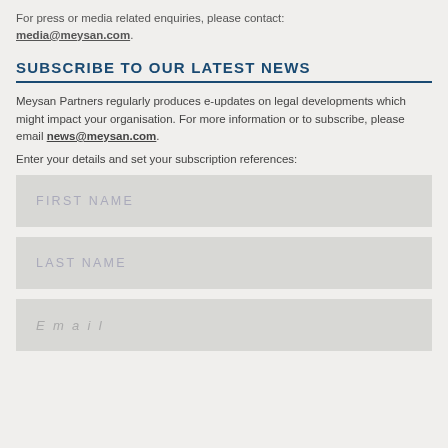For press or media related enquiries, please contact: media@meysan.com.
SUBSCRIBE TO OUR LATEST NEWS
Meysan Partners regularly produces e-updates on legal developments which might impact your organisation. For more information or to subscribe, please email news@meysan.com.
Enter your details and set your subscription references:
[Figure (other): Form input field with placeholder text FIRST NAME]
[Figure (other): Form input field with placeholder text LAST NAME]
[Figure (other): Form input field with placeholder text Email]